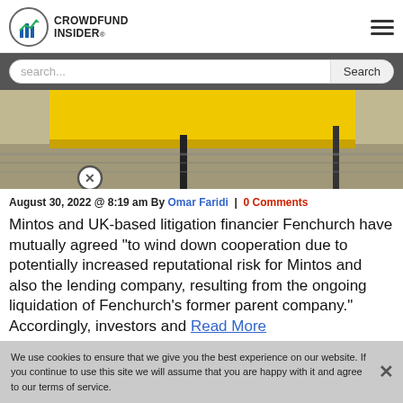CROWDFUND INSIDER
search...
[Figure (photo): Partial outdoor scene with yellow signage/structure visible, cobblestone ground, and a close-up circle X button overlay]
August 30, 2022 @ 8:19 am By Omar Faridi | 0 Comments
Mintos and UK-based litigation financier Fenchurch have mutually agreed “to wind down cooperation due to potentially increased reputational risk for Mintos and also the lending company, resulting from the ongoing liquidation of Fenchurch’s former parent company.” Accordingly, investors and agree to our terms of Fenchurch will have... Read More
We use cookies to ensure that we give you the best experience on our website. If you continue to use this site we will assume that you are happy with it and agree to our terms of service.